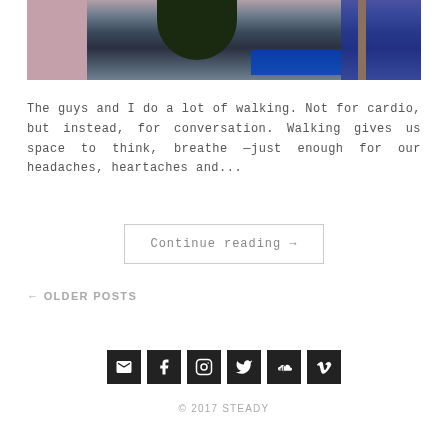[Figure (photo): Urban street scene with buildings and signage, viewed from below]
The guys and I do a lot of walking. Not for cardio, but instead, for conversation. Walking gives us space to think, breathe —just enough for our headaches, heartaches and...
Continue reading →
← OLDER POSTS
[Figure (infographic): Row of social media icons: email, Facebook, Instagram, Twitter, SoundCloud, Vimeo]
© 2017 STEADY